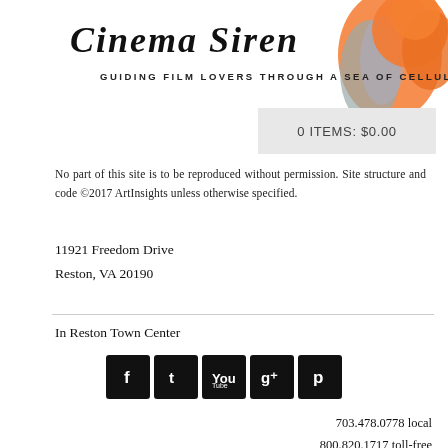[Figure (logo): Cinema Siren logo with stylized script text reading 'Cinema Siren', tagline 'GUIDING FILM LOVERS THROUGH A SEA OF CELLULOID', and an illustration of a redhead mermaid figure on the right side]
0 ITEMS: $0.00
No part of this site is to be reproduced without permission. Site structure and code ©2017 ArtInsights unless otherwise specified.
11921 Freedom Drive
Reston, VA 20190
In Reston Town Center
[Figure (other): Row of five social media icons (Facebook, Twitter, YouTube, Google+, Pinterest) as white icons on black square backgrounds]
703.478.0778 local
800.820.1717 toll-free
artinsights@gmail.com